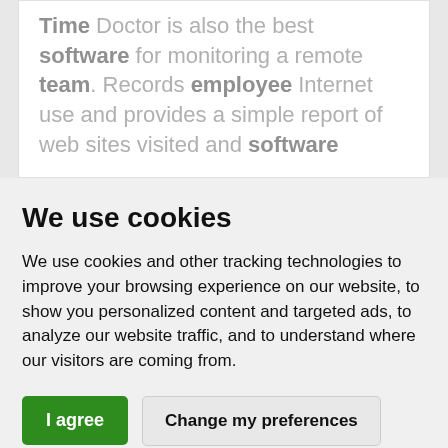Time Doctor is also the best software for monitoring a remote team. Records employee Internet use and provides a simple report of web sites visited and software
We use cookies
We use cookies and other tracking technologies to improve your browsing experience on our website, to show you personalized content and targeted ads, to analyze our website traffic, and to understand where our visitors are coming from.
I agree | Change my preferences